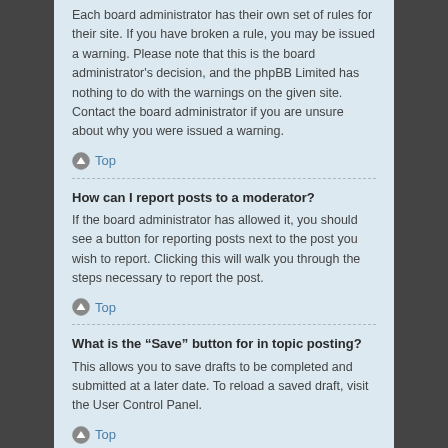Each board administrator has their own set of rules for their site. If you have broken a rule, you may be issued a warning. Please note that this is the board administrator's decision, and the phpBB Limited has nothing to do with the warnings on the given site. Contact the board administrator if you are unsure about why you were issued a warning.
Top
How can I report posts to a moderator?
If the board administrator has allowed it, you should see a button for reporting posts next to the post you wish to report. Clicking this will walk you through the steps necessary to report the post.
Top
What is the “Save” button for in topic posting?
This allows you to save drafts to be completed and submitted at a later date. To reload a saved draft, visit the User Control Panel.
Top
Why does my post need to be approved?